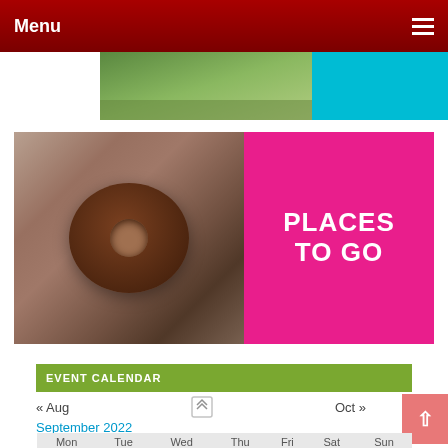Menu
[Figure (screenshot): Top banner image strip with outdoor photo and colored panel]
[Figure (photo): Child holding large chocolate donut in front of face, next to pink panel reading PLACES TO GO]
EVENT CALENDAR
« Aug    Oct »
September 2022
| Mon | Tue | Wed | Thu | Fri | Sat | Sun |
| --- | --- | --- | --- | --- | --- | --- |
|  |  |  | 1 | 2 | 3 | 4 |
| 5 | 6 | 7 | 8 | 9 | 10 | 11 |
| 12 | 13 | 14 | 15 | 16 | 17 | 18 |